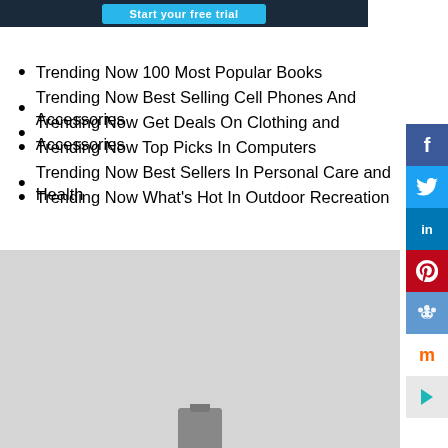[Figure (screenshot): Dark banner with teal 'Start your free trial' button]
Trending Now 100 Most Popular Books
Trending Now Best Selling Cell Phones And Accessories
Trending Now Get Deals On Clothing and Accessories
Trending Now Top Picks In Computers
Trending Now Best Sellers In Personal Care and Health
Trending Now What's Hot In Outdoor Recreation
[Figure (screenshot): Gray map placeholder area with a small map pin icon at the bottom center, and social sharing buttons (Facebook, Twitter, LinkedIn, Pinterest, Reddit, Murl, arrow) on the right side]